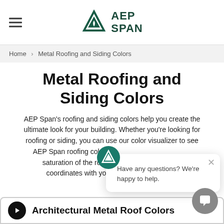AEP SPAN
Home > Metal Roofing and Siding Colors
Metal Roofing and Siding Colors
AEP Span's roofing and siding colors help you create the ultimate look for your building. Whether you're looking for roofing or siding, you can use our color visualizer to see AEP Span roofing colors, adjust the brightness and saturation of the roofing color, and see how it coordinates with your current roofing style.
[Figure (screenshot): Chat popup widget with AEP Span logo avatar and text 'Have any questions? We're happy to help.']
Architectural Metal Roof Colors